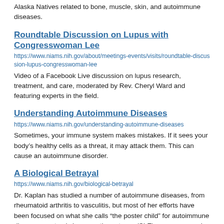Alaska Natives related to bone, muscle, skin, and autoimmune diseases.
Roundtable Discussion on Lupus with Congresswoman Lee
https://www.niams.nih.gov/about/meetings-events/visits/roundtable-discussion-lupus-congresswoman-lee
Video of a Facebook Live discussion on lupus research, treatment, and care, moderated by Rev. Cheryl Ward and featuring experts in the field.
Understanding Autoimmune Diseases
https://www.niams.nih.gov/understanding-autoimmune-diseases
Sometimes, your immune system makes mistakes. If it sees your body's healthy cells as a threat, it may attack them. This can cause an autoimmune disorder.
A Biological Betrayal
https://www.niams.nih.gov/biological-betrayal
Dr. Kaplan has studied a number of autoimmune diseases, from rheumatoid arthritis to vasculitis, but most of her efforts have been focused on what she calls “the poster child” for autoimmune diseases: systemic lupus erythematosus (SLE), more commonly